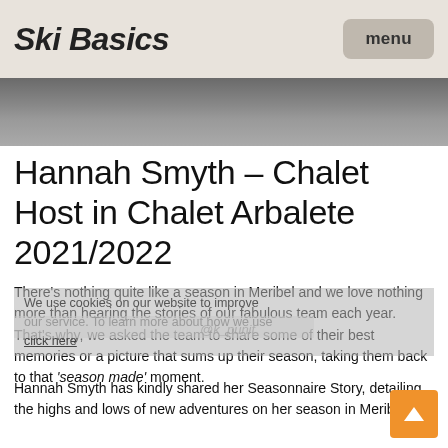Ski Basics | menu
[Figure (photo): Partial photo strip showing a person in ski gear outdoors in snowy conditions]
Hannah Smyth – Chalet Host in Chalet Arbalete 2021/2022
There's nothing quite like a season in Meribel and we love nothing more than hearing the stories of our fabulous team each year. That's why, we asked the team to share some of their best memories or a picture that sums up their season, taking them back to that 'season made' moment.
Hannah Smyth has kindly shared her Seasonnaire Story, detailing the highs and lows of new adventures on her season in Meribel.